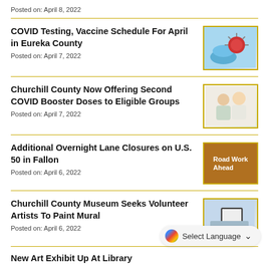Posted on: April 8, 2022
COVID Testing, Vaccine Schedule For April in Eureka County
Posted on: April 7, 2022
[Figure (photo): Gloved hand holding a COVID virus model]
Churchill County Now Offering Second COVID Booster Doses to Eligible Groups
Posted on: April 7, 2022
[Figure (photo): Doctor or nurse with a patient, vaccine administration scene]
Additional Overnight Lane Closures on U.S. 50 in Fallon
Posted on: April 6, 2022
[Figure (photo): Road Work Ahead sign on orange background]
Churchill County Museum Seeks Volunteer Artists To Paint Mural
Posted on: April 6, 2022
[Figure (photo): Outdoor scene with a large billboard or mural board]
New Art Exhibit Up At Library